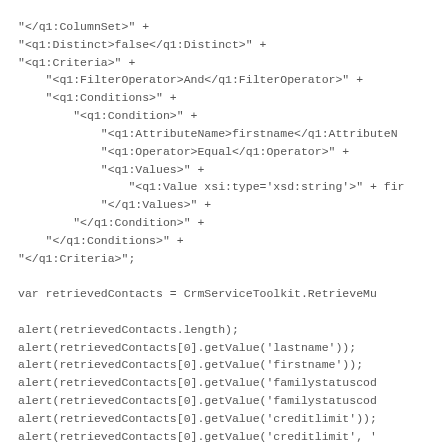"</q1:ColumnSet>" +
"<q1:Distinct>false</q1:Distinct>" +
"<q1:Criteria>" +
    "<q1:FilterOperator>And</q1:FilterOperator>" +
    "<q1:Conditions>" +
        "<q1:Condition>" +
            "<q1:AttributeName>firstname</q1:AttributeName>" +
            "<q1:Operator>Equal</q1:Operator>" +
            "<q1:Values>" +
                "<q1:Value xsi:type='xsd:string'>" + firstname +
            "</q1:Values>" +
        "</q1:Condition>" +
    "</q1:Conditions>" +
"</q1:Criteria>";

var retrievedContacts = CrmServiceToolkit.RetrieveMu

alert(retrievedContacts.length);
alert(retrievedContacts[0].getValue('lastname'));
alert(retrievedContacts[0].getValue('firstname'));
alert(retrievedContacts[0].getValue('familystatuscod
alert(retrievedContacts[0].getValue('familystatuscod
alert(retrievedContacts[0].getValue('creditlimit'));
alert(retrievedContacts[0].getValue('creditlimit', '
alert(retrievedContacts[0].getValue('birthdate'));
alert(retrievedContacts[0].getValue('birthdate', 'da
alert(retrievedContacts[0].getValue('birthdate', 'ti